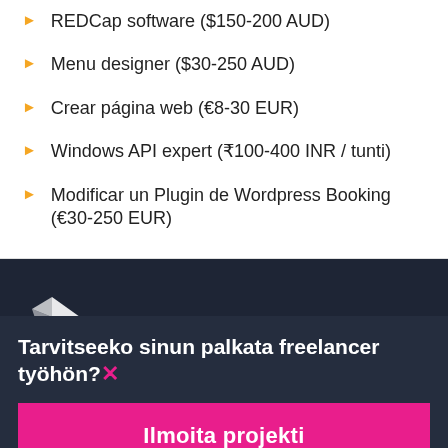REDCap software ($150-200 AUD)
Menu designer ($30-250 AUD)
Crear página web (€8-30 EUR)
Windows API expert (₹100-400 INR / tunti)
Modificar un Plugin de Wordpress Booking (€30-250 EUR)
[Figure (logo): White hummingbird/bird logo on dark background]
Tarvitseeko sinun palkata freelancer työhön?
Ilmoita projekti